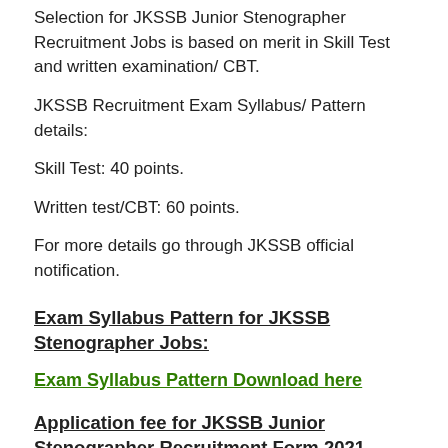Selection for JKSSB Junior Stenographer Recruitment Jobs is based on merit in Skill Test and written examination/ CBT.
JKSSB Recruitment Exam Syllabus/ Pattern details:
Skill Test: 40 points.
Written test/CBT: 60 points.
For more details go through JKSSB official notification.
Exam Syllabus Pattern for JKSSB Stenographer Jobs:
Exam Syllabus Pattern Download here
Application fee for JKSSB Junior Stenographer Recruitment Form 2021